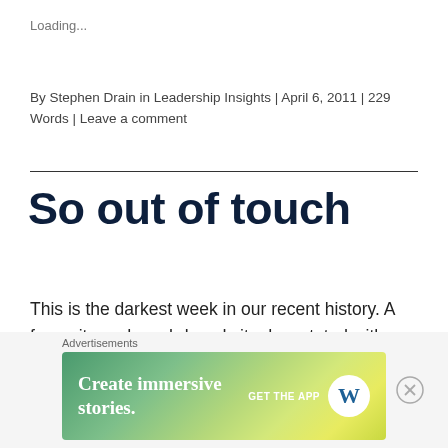Loading...
By Stephen Drain in Leadership Insights | April 6, 2011 | 229 Words | Leave a comment
So out of touch
This is the darkest week in our recent history. A favourite and much-loved city devastated with loss and destruction on an appalling scale. I feel pained and I am sure most Kiwis do. The international
[Figure (other): Advertisement banner: Create immersive stories. GET THE APP with WordPress logo]